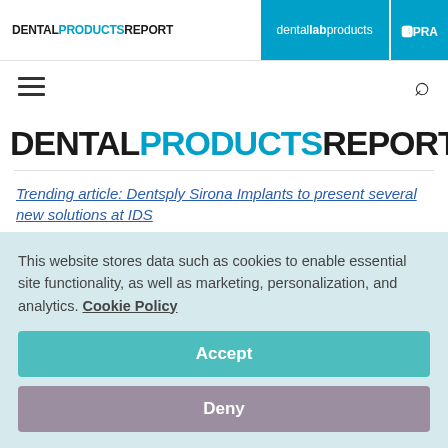DENTAL PRODUCTS REPORT | dental lab products | EPRA
[Figure (logo): Dental Products Report logo with PRODUCTS in blue, nav bar with dental lab products and EPRA tabs]
Trending article: Dentsply Sirona Implants to present several new solutions at IDS
Fewer steps, automatic detection and excellent precision
This website stores data such as cookies to enable essential site functionality, as well as marketing, personalization, and analytics. Cookie Policy
Accept
Deny